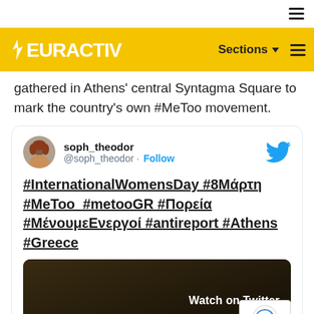EURACTIV — navigation bar with Sections and menu
gathered in Athens' central Syntagma Square to mark the country's own #MeToo movement.
[Figure (screenshot): Embedded tweet from soph_theodor (@soph_theodor) with text '#InternationalWomensDay #8Μάρτη #MeToo #metooGR #Πορεία #ΜένουμεΕνεργοί #antireport #Athens #Greece' and a Twitter video embed showing 'Watch on Twitter']